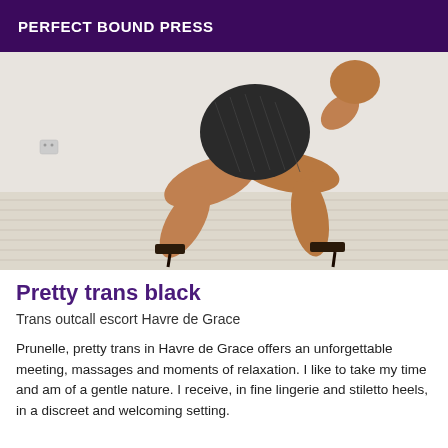PERFECT BOUND PRESS
[Figure (photo): Person posing in a crouching position on a light wood floor, wearing a black fishnet top and high heels, against a white wall.]
Pretty trans black
Trans outcall escort Havre de Grace
Prunelle, pretty trans in Havre de Grace offers an unforgettable meeting, massages and moments of relaxation. I like to take my time and am of a gentle nature. I receive, in fine lingerie and stiletto heels, in a discreet and welcoming setting.